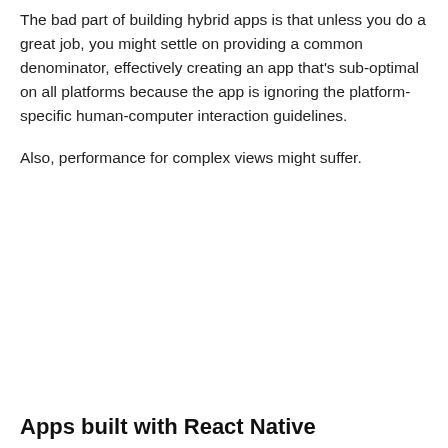The bad part of building hybrid apps is that unless you do a great job, you might settle on providing a common denominator, effectively creating an app that's sub-optimal on all platforms because the app is ignoring the platform-specific human-computer interaction guidelines.
Also, performance for complex views might suffer.
Apps built with React Native